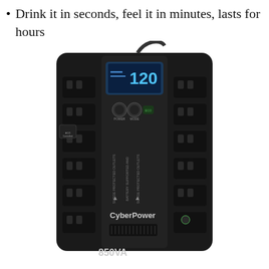Drink it in seconds, feel it in minutes, lasts for hours
[Figure (photo): CyberPower 850VA UPS (Uninterruptible Power Supply) unit shown from the front. The black rectangular device features multiple power outlets on both sides, a blue LCD display showing '120', POWER and MODE buttons, ECO Controlled label, surge protected outlets, battery supported and surge protected outlets labels, CyberPower branding, and '850VA' printed at the bottom.]